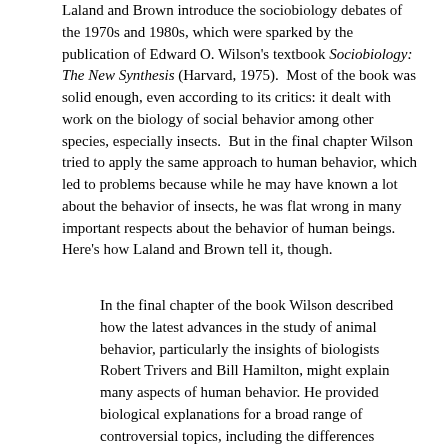Laland and Brown introduce the sociobiology debates of the 1970s and 1980s, which were sparked by the publication of Edward O. Wilson's textbook Sociobiology: The New Synthesis (Harvard, 1975). Most of the book was solid enough, even according to its critics: it dealt with work on the biology of social behavior among other species, especially insects. But in the final chapter Wilson tried to apply the same approach to human behavior, which led to problems because while he may have known a lot about the behavior of insects, he was flat wrong in many important respects about the behavior of human beings. Here's how Laland and Brown tell it, though.
In the final chapter of the book Wilson described how the latest advances in the study of animal behavior, particularly the insights of biologists Robert Trivers and Bill Hamilton, might explain many aspects of human behavior. He provided biological explanations for a broad range of controversial topics, including the differences between the sexes, human aggression, religion, homosexuality, and xenophobia. He also predicted that it would not be long before the social sciences were subsumed within the biological sciences. Wilson's book provoked an uproar and launched what is now known as the 'sociobiology debate', which raged throughout the 1970s and 1980s. Social scientists